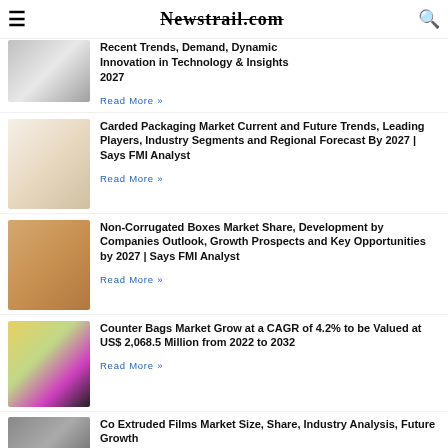Newstrail.com
Recent Trends, Demand, Dynamic Innovation in Technology & Insights 2027
Read More »
Carded Packaging Market Current and Future Trends, Leading Players, Industry Segments and Regional Forecast By 2027 | Says FMI Analyst
Read More »
Non-Corrugated Boxes Market Share, Development by Companies Outlook, Growth Prospects and Key Opportunities by 2027 | Says FMI Analyst
Read More »
Counter Bags Market Grow at a CAGR of 4.2% to be Valued at US$ 2,068.5 Million from 2022 to 2032
Read More »
Co Extruded Films Market Size, Share, Industry Analysis, Future Growth